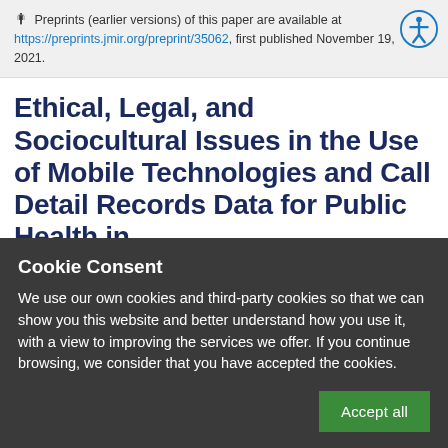Preprints (earlier versions) of this paper are available at https://preprints.jmir.org/preprint/35062, first published November 19, 2021.
Ethical, Legal, and Sociocultural Issues in the Use of Mobile Technologies and Call Detail Records Data for Public Health in
Cookie Consent
We use our own cookies and third-party cookies so that we can show you this website and better understand how you use it, with a view to improving the services we offer. If you continue browsing, we consider that you have accepted the cookies.